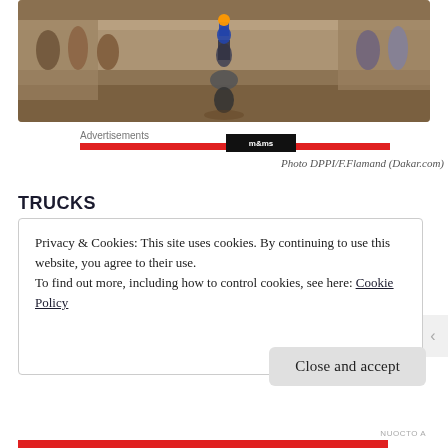[Figure (photo): Motorcycle rider on dirt track with crowd watching in background at Dakar rally event]
Advertisements
Photo DPPI/F.Flamand (Dakar.com)
TRUCKS
Privacy & Cookies: This site uses cookies. By continuing to use this website, you agree to their use.
To find out more, including how to control cookies, see here: Cookie Policy
Close and accept